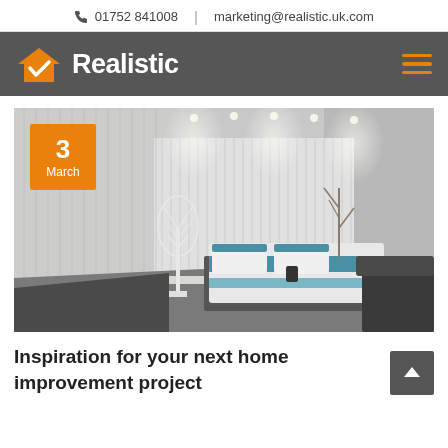01752 841008  |  marketing@realistic.uk.com
[Figure (logo): Realistic company logo with orange house icon and checkmark, white bold text 'Realistic' on dark grey background, with orange hamburger menu icon on right]
[Figure (photo): Modern bedroom interior with vertical white blinds, recessed ceiling spotlights, a bed with blue and white bedding, a white decorative tree on left, and dark furniture. Orange date badge overlaid showing '3 March'.]
Inspiration for your next home improvement project